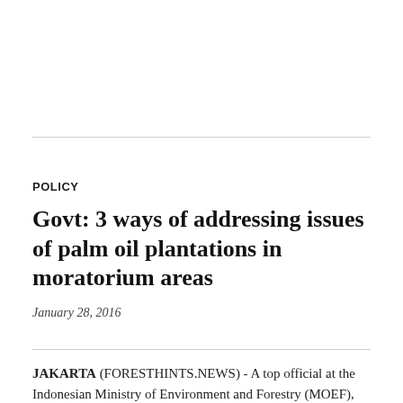POLICY
Govt: 3 ways of addressing issues of palm oil plantations in moratorium areas
January 28, 2016
JAKARTA (FORESTHINTS.NEWS) - A top official at the Indonesian Ministry of Environment and Forestry (MOEF), San Afri Awang, said that his ministry will look at three ways of